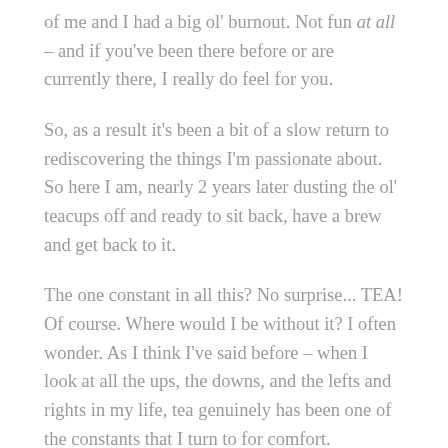of me and I had a big ol' burnout. Not fun at all – and if you've been there before or are currently there, I really do feel for you.
So, as a result it's been a bit of a slow return to rediscovering the things I'm passionate about. So here I am, nearly 2 years later dusting the ol' teacups off and ready to sit back, have a brew and get back to it.
The one constant in all this? No surprise... TEA! Of course. Where would I be without it? I often wonder. As I think I've said before – when I look at all the ups, the downs, and the lefts and rights in my life, tea genuinely has been one of the constants that I turn to for comfort.
DISCOVERING SRI LANKA